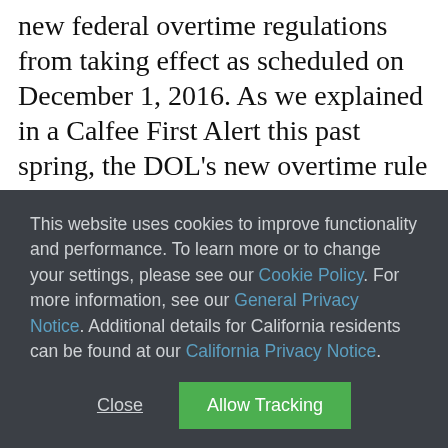new federal overtime regulations from taking effect as scheduled on December 1, 2016. As we explained in a Calfee First Alert this past spring, the DOL's new overtime rule would
This website uses cookies to improve functionality and performance. To learn more or to change your settings, please see our Cookie Policy. For more information, see our General Privacy Notice. Additional details for California residents can be found at our California Privacy Notice.